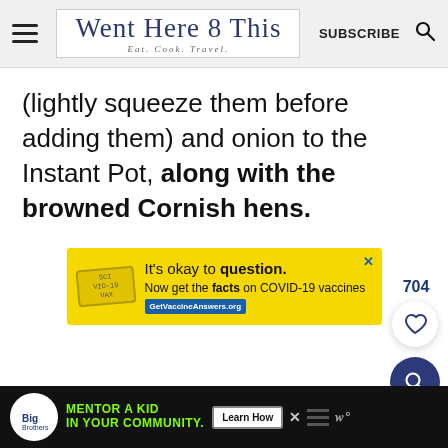Went Here 8 This — Eat. Cook. Travel. | SUBSCRIBE
(lightly squeeze them before adding them) and onion to the Instant Pot, along with the browned Cornish hens.
[Figure (infographic): Yellow advertisement banner: 'It's okay to question. Now get the facts on COVID-19 vaccines GetVaccineAnswers.org']
[Figure (infographic): Like/save counter showing 704, with heart icon button and search icon button]
[Figure (infographic): Bottom ad bar: Big Brothers Big Sisters – MENTOR A KID IN YOUR COMMUNITY. Learn How button.]